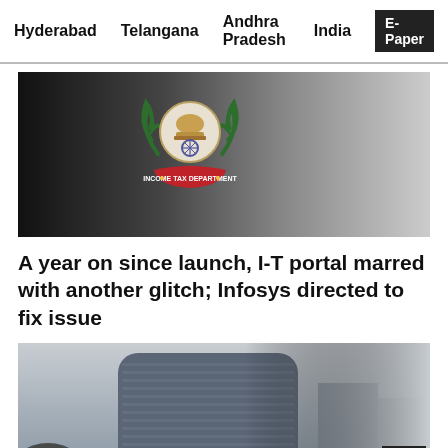Hyderabad   Telangana   Andhra Pradesh   India   E-Paper
[Figure (logo): Income Tax Department logo on dark gradient background]
A year on since launch, I-T portal marred with another glitch; Infosys directed to fix issue
[Figure (photo): Photo of Bombay Stock Exchange (BSE) building in foggy/misty conditions with trees in foreground]